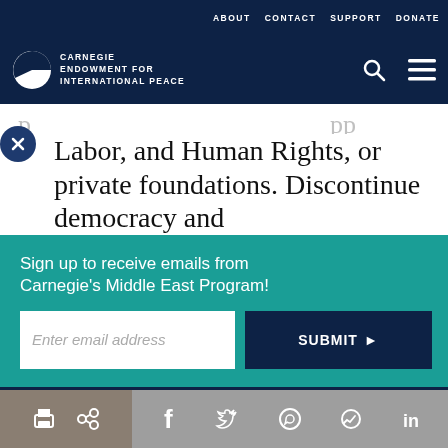ABOUT  CONTACT  SUPPORT  DONATE
[Figure (logo): Carnegie Endowment for International Peace logo — white circle-pie icon and bold uppercase text on dark navy background, with search and hamburger menu icons]
Labor, and Human Rights, or private foundations. Discontinue democracy and
Sign up to receive emails from Carnegie's Middle East Program!
Enter email address
SUBMIT ▶
our cookie policy.
[Figure (infographic): Social sharing bar with print, share/link, Facebook, Twitter, WhatsApp, Messenger, and LinkedIn icons on tan and grey backgrounds]